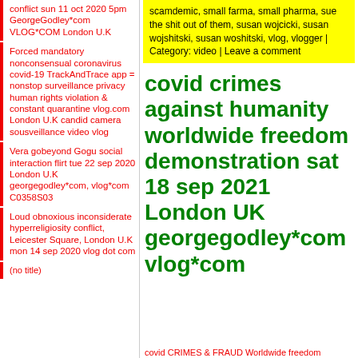conflict sun 11 oct 2020 5pm GeorgeGodley*com VLOG*COM London U.K
Forced mandatory nonconsensual coronavirus covid-19 TrackAndTrace app = nonstop surveillance privacy human rights violation & constant quarantine vlog.com London U.K candid camera sousveillance video vlog
Vera gobeyond Gogu social interaction flirt tue 22 sep 2020 London U.K georgegodley*com, vlog*com C0358S03
Loud obnoxious inconsiderate hyperreligiosity conflict, Leicester Square, London U.K mon 14 sep 2020 vlog dot com
(no title)
scamdemic, small farma, small pharma, sue the shit out of them, susan wojcicki, susan wojshitski, susan woshitski, vlog, vlogger | Category: video | Leave a comment
covid crimes against humanity worldwide freedom demonstration sat 18 sep 2021 London UK georgegodley*com vlog*com
covid CRIMES & FRAUD Worldwide freedom